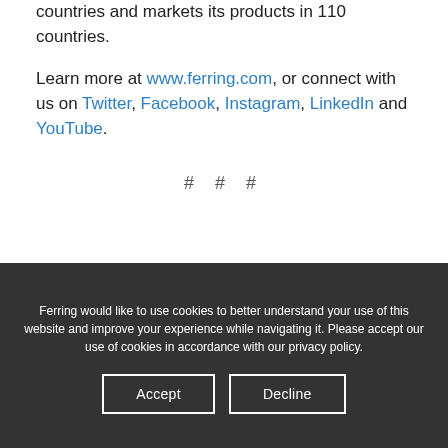countries and markets its products in 110 countries.
Learn more at www.ferring.com, or connect with us on Twitter, Facebook, Instagram, LinkedIn and YouTube.
# # #
Ferring would like to use cookies to better understand your use of this website and improve your experience while navigating it. Please accept our use of cookies in accordance with our privacy policy.